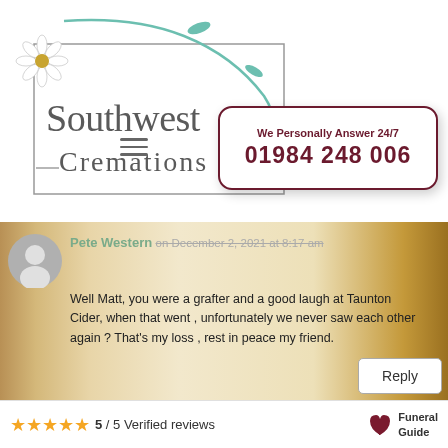[Figure (logo): Southwest Cremations logo with flower illustration and teal vine design]
We Personally Answer 24/7
01984 248 006
Pete Western on December 2, 2021 at 8:17 am

Well Matt, you were a grafter and a good laugh at Taunton Cider, when that went , unfortunately we never saw each other again ? That's my loss , rest in peace my friend.
Reply
5 / 5 Verified reviews
[Figure (logo): Funeral Guide logo - stylized butterfly/heart shape in dark red with text Funeral Guide]